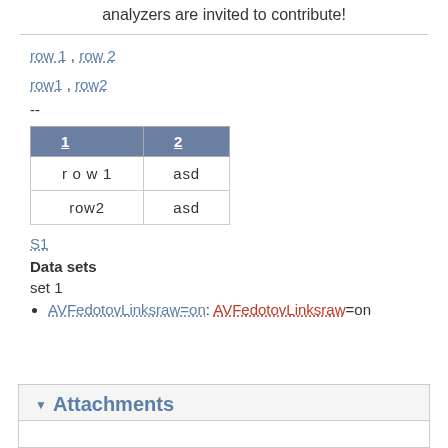analyzers are invited to contribute!
row 1 , row 2
row1 , row2
--
| 1 | 2 |
| --- | --- |
| r o w 1 | asd |
| row2 | asd |
S1
Data sets
set 1
AVFedotovLinksraw=on: AVFedotovLinksraw=on
Attachments